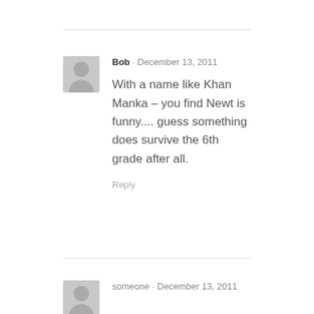Bob · December 13, 2011
With a name like Khan Manka – you find Newt is funny.... guess something does survive the 6th grade after all.
Reply
someone · December 13, 2011